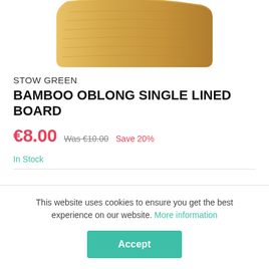[Figure (photo): Bamboo oblong cutting board viewed from above at an angle, showing wood grain texture with rounded corners, partially cropped at top of image.]
STOW GREEN
BAMBOO OBLONG SINGLE LINED BOARD
€8.00  Was €10.00  Save 20%
In Stock
This website uses cookies to ensure you get the best experience on our website. More information
Accept